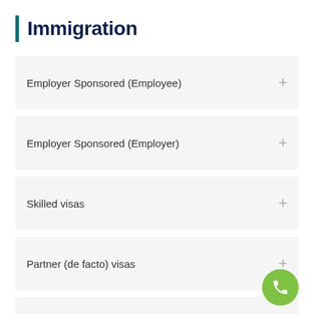Immigration
Employer Sponsored (Employee)
Employer Sponsored (Employer)
Skilled visas
Partner (de facto) visas
Parent visas
Study in Australia
Appeals and Review